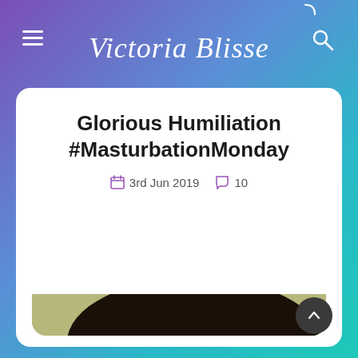Victoria Blisse
Glorious Humiliation #MasturbationMonday
3rd Jun 2019   10
[Figure (photo): Close-up photo of a woman's face with dark curly hair, looking toward the camera, with a green/olive background]